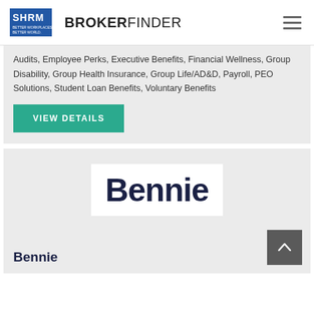SHRM BROKERFINDER
Audits, Employee Perks, Executive Benefits, Financial Wellness, Group Disability, Group Health Insurance, Group Life/AD&D, Payroll, PEO Solutions, Student Loan Benefits, Voluntary Benefits
VIEW DETAILS
[Figure (logo): Bennie company logo — dark navy rounded bold text reading 'Bennie' on white background]
Bennie